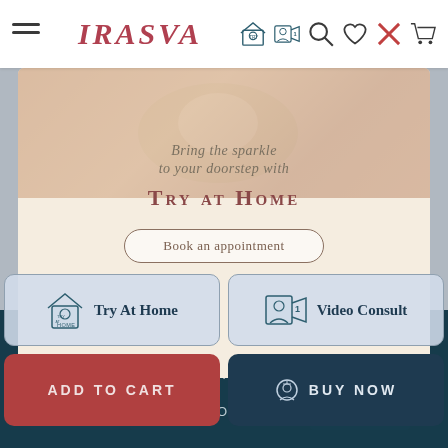IRASVA — navigation bar with hamburger menu, logo, Try at Home icon, Video Consult icon, search, wishlist, close, cart
[Figure (screenshot): Hero section with cream/beige background showing 'Bring the sparkle to your doorstep with TRY AT HOME' text and 'Book an appointment' button]
Bring the sparkle to your doorstep with
Try at Home
Book an appointment
CUSTOMER SERVICE +
INFORMATION +
CATEGORIES +
Try At Home
Video Consult
ADD TO CART
BUY NOW